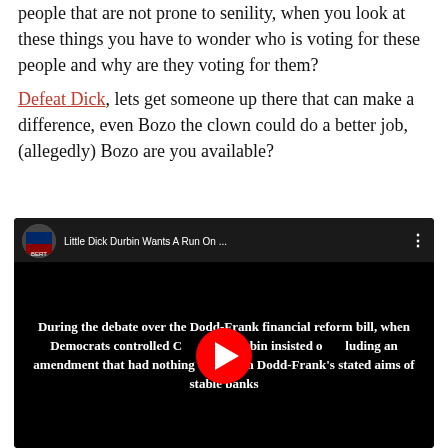people that are not prone to senility, when you look at these things you have to wonder who is voting for these people and why are they voting for them?
Defeat Dick, lets get someone up there that can make a difference, even Bozo the clown could do a better job, (allegedly) Bozo are you available?
[Figure (screenshot): YouTube video thumbnail showing a video titled 'Little Dick Durbin Wants A Run On ...' with overlay text: 'During the debate over the Dodd-Frank financial reform bill, when Democrats controlled Congress, Durbin insisted on including an amendment that had nothing to do with Dodd-Frank's stated aims of stable banks']